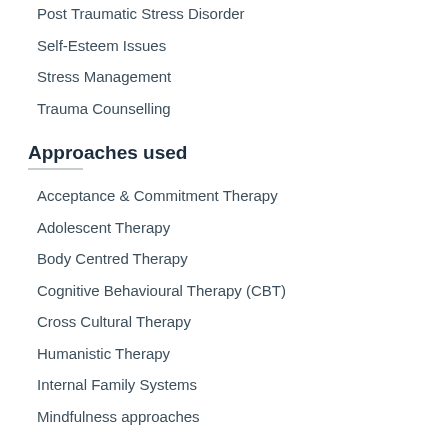Post Traumatic Stress Disorder
Self-Esteem Issues
Stress Management
Trauma Counselling
Approaches used
Acceptance & Commitment Therapy
Adolescent Therapy
Body Centred Therapy
Cognitive Behavioural Therapy (CBT)
Cross Cultural Therapy
Humanistic Therapy
Internal Family Systems
Mindfulness approaches